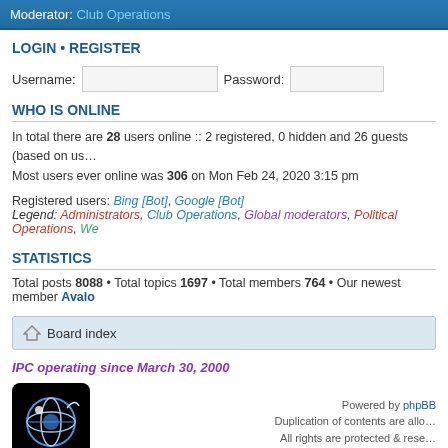Moderator: Club Operations
LOGIN • REGISTER
Username:  Password:
WHO IS ONLINE
In total there are 28 users online :: 2 registered, 0 hidden and 26 guests (based on users active over the past 5 minutes)
Most users ever online was 306 on Mon Feb 24, 2020 3:15 pm
Registered users: Bing [Bot], Google [Bot]
Legend: Administrators, Club Operations, Global moderators, Political Operations, We...
STATISTICS
Total posts 8088 • Total topics 1697 • Total members 764 • Our newest member Avalo...
Board index
IPC operating since March 30, 2000
[Figure (logo): Black rounded square logo with globe and orbit lines graphic in blue/white]
Powered by phpBB
Duplication of contents are allo...
All rights are protected & rese...